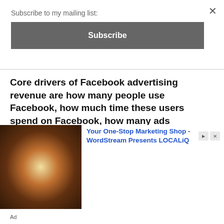Subscribe to my mailing list:
Subscribe
Core drivers of Facebook advertising revenue are how many people use Facebook, how much time these users spend on Facebook, how many ads Facebook shows to its users per certain time, and finally, how much Facebook charges for one ad placement.
To make it more apparent how those revenue drivers work together, we can put them all into revenue “formula,” as you can see below.
[Figure (photo): Advertisement banner showing a man standing in front of a radial burst of colorful imagery, with text: Your One-Stop Marketing Shop - WordStream Presents LOCALiQ]